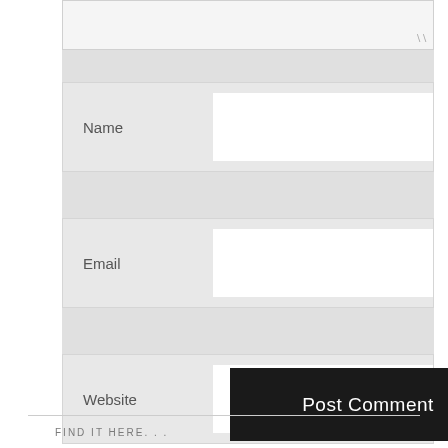[Figure (screenshot): Web comment form showing a textarea (partially visible at top), followed by Name, Email, and Website input fields on a gray background, with a dark 'Post Comment' button at the bottom right.]
Name
Email
Website
Post Comment
FIND IT HERE. . .